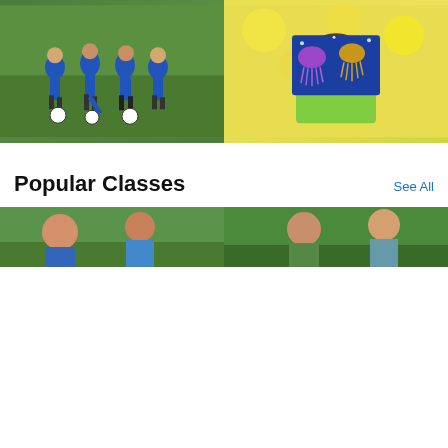[Figure (photo): Children in blue soccer shirts playing on grass field]
[Figure (photo): Child wearing mask holding blue art canvas with jellyfish painting]
CAMP · SINGLE DAY
Super Soccer Stars Camp
by Super Soccer Stars
Brooklyn +more
Mon, Sep 5 +more dates
[Figure (other): 4.5 star rating shown in orange stars]
CAMP · SINGLE DAY AVAILABLE
Summer Art Camp for Kids
by Creatively Wild Art Studio
Brooklyn
Mon, Sep 5 +more dates
[Figure (other): 5 star rating shown in orange stars]
Popular Classes
See All
[Figure (photo): Partial image of outdoor class, bottom of page]
[Figure (photo): Partial image of outdoor class, bottom of page right]